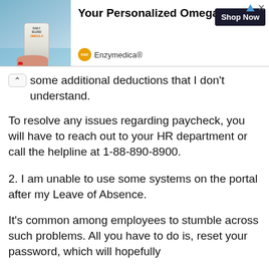[Figure (screenshot): Advertisement banner for Enzymedica Omega-3 personalized blend supplement, showing product bottle held by hand, with 'Your Personalized Omega Blend' heading, 'Shop Now' button, and Enzymedica® brand name.]
some additional deductions that I don't understand.
To resolve any issues regarding paycheck, you will have to reach out to your HR department or call the helpline at 1-88-890-8900.
2. I am unable to use some systems on the portal after my Leave of Absence.
It's common among employees to stumble across such problems. All you have to do is, reset your password, which will hopefully